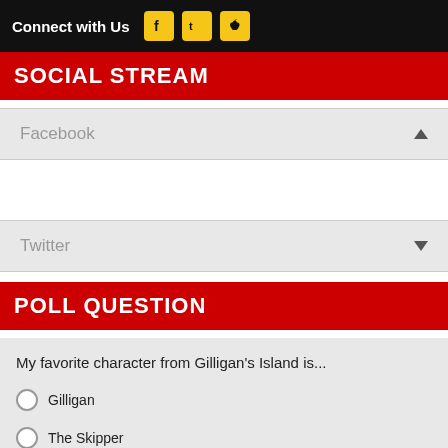Connect with Us
SOCIAL STREAM
Facebook
Twitter
POLL QUESTION
My favorite character from Gilligan's Island is...
Gilligan
The Skipper